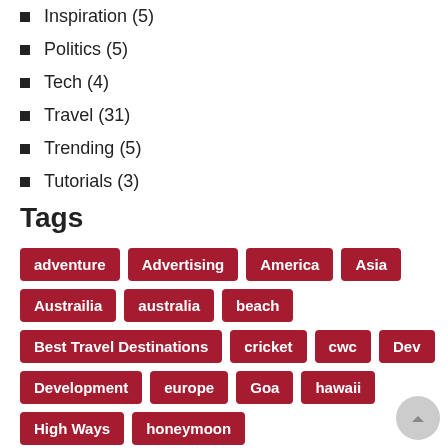Inspiration (5)
Politics (5)
Tech (4)
Travel (31)
Trending (5)
Tutorials (3)
Tags
adventure | Advertising | America | Asia | Austrailia | australia | beach | Best Travel Destinations | cricket | cwc | Dev | Development | europe | Goa | hawaii | High Ways | honeymoon